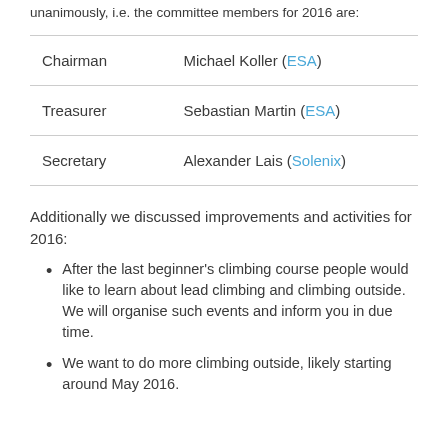unanimously, i.e. the committee members for 2016 are:
| Role | Name |
| --- | --- |
| Chairman | Michael Koller (ESA) |
| Treasurer | Sebastian Martin (ESA) |
| Secretary | Alexander Lais (Solenix) |
Additionally we discussed improvements and activities for 2016:
After the last beginner’s climbing course people would like to learn about lead climbing and climbing outside. We will organise such events and inform you in due time.
We want to do more climbing outside, likely starting around May 2016.